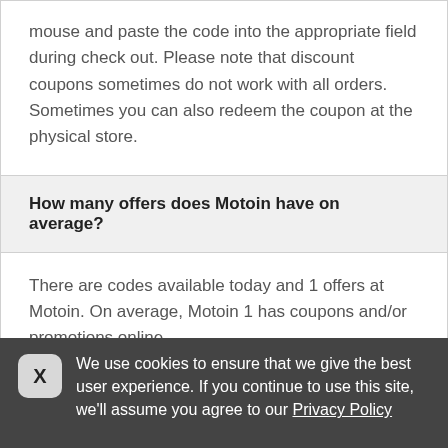mouse and paste the code into the appropriate field during check out. Please note that discount coupons sometimes do not work with all orders. Sometimes you can also redeem the coupon at the physical store.
How many offers does Motoin have on average?
There are codes available today and 1 offers at Motoin. On average, Motoin 1 has coupons and/or promotions online
We use cookies to ensure that we give the best user experience. If you continue to use this site, we'll assume you agree to our Privacy Policy